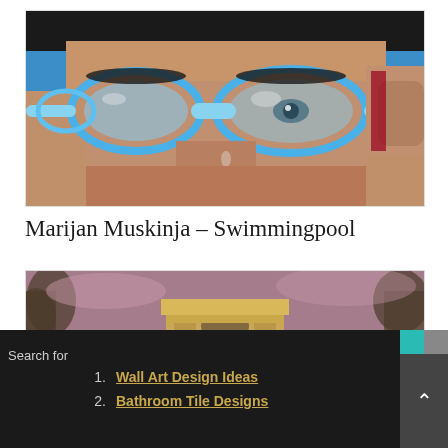[Figure (photo): Close-up hyperrealistic painting of a male face wearing blue swimming goggles, with skin texture and a teardrop visible]
Marijan Muskinja – Swimmingpool
[Figure (photo): Photograph of the Arc de Triomphe in Paris at dusk with warm golden and purple tones, trees visible on the sides]
Search for
1. Wall Art Design Ideas
2. Bathroom Tile Designs